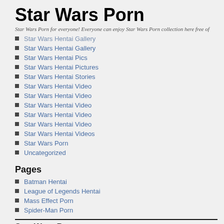Star Wars Porn
Star Wars Porn for everyone! Everyone can enjoy Star Wars Porn collection here free of
Star Wars Hentai Gallery
Star Wars Hentai Gallery
Star Wars Hentai Pics
Star Wars Hentai Pictures
Star Wars Hentai Stories
Star Wars Hentai Video
Star Wars Hentai Video
Star Wars Hentai Video
Star Wars Hentai Video
Star Wars Hentai Video
Star Wars Hentai Videos
Star Wars Porn
Uncategorized
Pages
Batman Hentai
League of Legends Hentai
Mass Effect Porn
Spider-Man Porn
Star Wars Porn